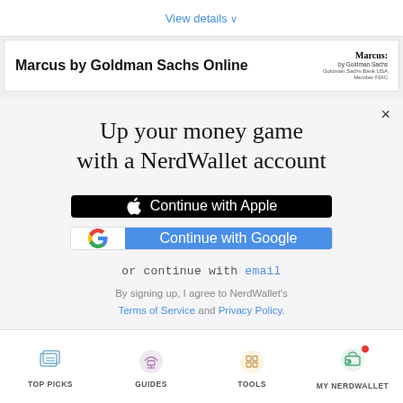View details ∨
Marcus by Goldman Sachs Online
Marcus: by Goldman Sachs Goldman Sachs Bank USA Member FDIC
×
Up your money game with a NerdWallet account
[Figure (screenshot): Black button with Apple logo icon and text 'Continue with Apple']
[Figure (screenshot): Button with Google G logo on white left panel and blue right panel with text 'Continue with Google']
or continue with email
By signing up, I agree to NerdWallet's Terms of Service and Privacy Policy.
[Figure (infographic): Bottom navigation bar with four icons: Top Picks (document/card icon), Guides (graduation cap icon), Tools (grid icon), My NerdWallet (wallet icon with red notification dot). Labels in uppercase below each icon.]